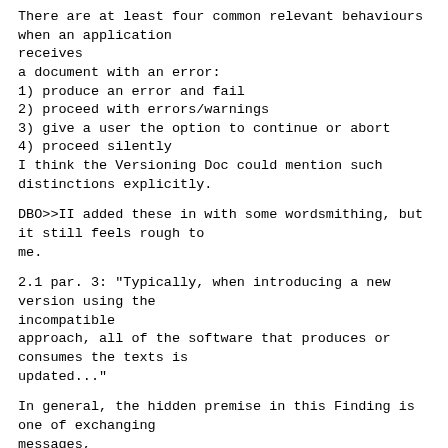There are at least four common relevant behaviours when an application receives a document with an error:
1) produce an error and fail
2) proceed with errors/warnings
3) give a user the option to continue or abort
4) proceed silently
I think the Versioning Doc could mention such distinctions explicitly.
DBO>>II added these in with some wordsmithing, but it still feels rough to me.
2.1 par. 3: "Typically, when introducing a new version using the incompatible approach, all of the software that produces or consumes the texts is updated..."
In general, the hidden premise in this Finding is one of exchanging messages, which 'disappear' after consumption. But versioning applies equally well to longer-lived documents. There are a few common cases I think deserve